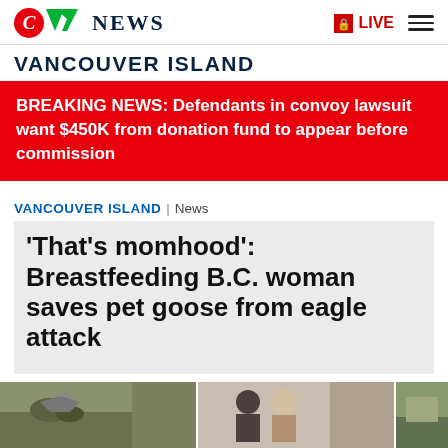CTV News
VANCOUVER ISLAND
BREAKING NEWS: Defendants in convoy lawsuit want $450K from donation fund to appear before commission
VANCOUVER ISLAND | News
'That's momhood': Breastfeeding B.C. woman saves pet goose from eagle attack
[Figure (photo): Three news thumbnail images at the bottom: an eagle near a structure, two people (man and woman), and a third outdoor scene]